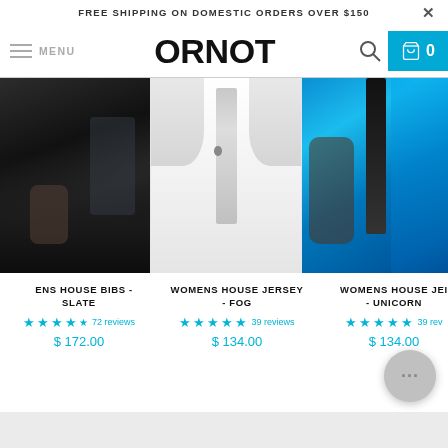FREE SHIPPING ON DOMESTIC ORDERS OVER $150
[Figure (screenshot): Navigation bar with hamburger menu, MENU text, ORNOT logo, search icon, and cyan shopping cart with 0 items]
[Figure (photo): Three cycling apparel product images side by side: dark bib shorts (Slate), white jersey (Fog), blue jersey (Unicorn)]
MENS HOUSE BIBS - SLATE
72 reviews
$ 172.00
WOMENS HOUSE JERSEY - FOG
39 reviews
$ 134.00
WOMENS HOUSE JERSEY - UNICORN
39 reviews
$ 134.00